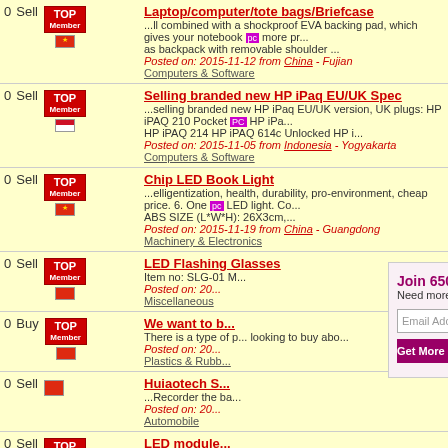0 Sell Laptop/computer/tote bags/Briefcase - ...ll combined with a shockproof EVA backing pad, which gives your notebook pc more protection... as backpack with removable shoulder ... Posted on: 2015-11-12 from China - Fujian Computers & Software
0 Sell Selling branded new HP iPaq EU/UK Spec - ...selling branded new HP iPaq EU/UK version, UK plugs: HP iPAQ 210 Pocket PC HP iPAQ... HP iPAQ 214 HP iPAQ 614c Unlocked HP i... Posted on: 2015-11-05 from Indonesia - Yogyakarta Computers & Software
0 Sell Chip LED Book Light - ...elligentization, health, durability, pro-environment, cheap price. 6. One pc LED light. Con... ABS SIZE (L*W*H): 26X3cm,... Posted on: 2015-11-19 from China - Guangdong Machinery & Electronics
0 Sell LED Flashing Glasses - Item no: SLG-01... Posted on: 20... Miscellaneous
0 Buy We want to buy... - There is a type of p... looking to buy abo... Posted on: 20... Plastics & Rubb...
0 Sell Huiaotech S... - ...Recorder the ba... Posted on: 20... Automobile
0 Sell LED module... - LED module: 1.LE... 4.work voltage: DC... Posted on: 20...
Join 650,000+ B2B M... Need more B2B Sales?
Email Address
Get More B2B Sale...